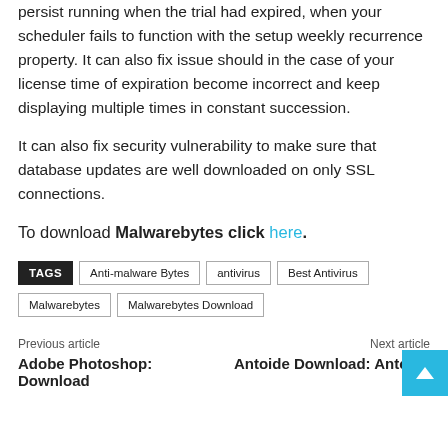persist running when the trial had expired, when your scheduler fails to function with the setup weekly recurrence property. It can also fix issue should in the case of your license time of expiration become incorrect and keep displaying multiple times in constant succession.
It can also fix security vulnerability to make sure that database updates are well downloaded on only SSL connections.
To download Malwarebytes click here.
TAGS  Anti-malware Bytes  antivirus  Best Antivirus  Malwarebytes  Malwarebytes Download
Previous article | Next article
Adobe Photoshop: Download | Antoide Download: Antoide